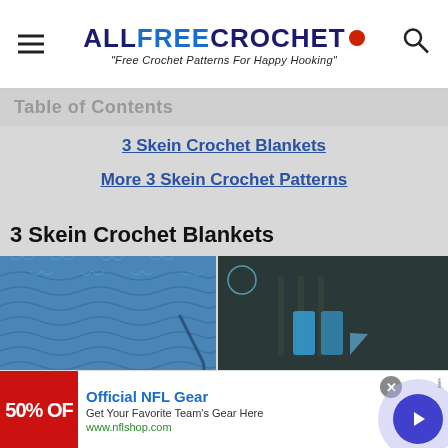ALLFREECROCHET • "Free Crochet Patterns For Happy Hooking"
Table of Contents
3 Skein Crochet Blankets
More 3 Skein Crochet Patterns
3 Skein Crochet Blankets
[Figure (photo): Close-up of blue crochet blanket texture with crochet hook]
[Figure (screenshot): Video player overlay with play button and mute icon, showing a person in background]
[Figure (photo): Teal/mint colored crochet or yarn texture at bottom right]
Official NFL Gear
Get Your Favorite Team's Gear Here
www.nflshop.com